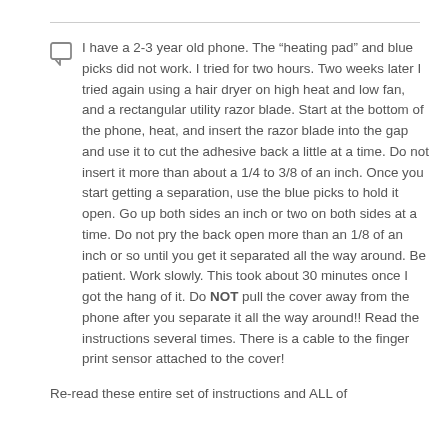I have a 2-3 year old phone. The “heating pad” and blue picks did not work. I tried for two hours. Two weeks later I tried again using a hair dryer on high heat and low fan, and a rectangular utility razor blade. Start at the bottom of the phone, heat, and insert the razor blade into the gap and use it to cut the adhesive back a little at a time. Do not insert it more than about a 1/4 to 3/8 of an inch. Once you start getting a separation, use the blue picks to hold it open. Go up both sides an inch or two on both sides at a time. Do not pry the back open more than an 1/8 of an inch or so until you get it separated all the way around. Be patient. Work slowly. This took about 30 minutes once I got the hang of it. Do NOT pull the cover away from the phone after you separate it all the way around!! Read the instructions several times. There is a cable to the finger print sensor attached to the cover!
Re-read these entire set of instructions and ALL of